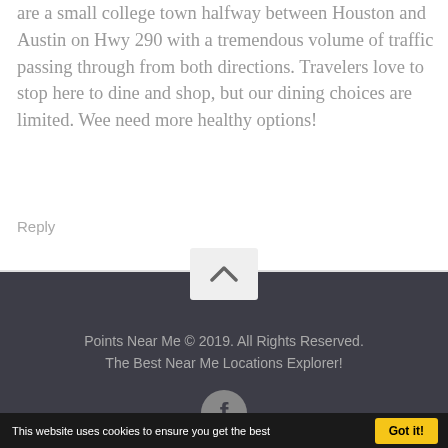are a small college town halfway between Houston and Austin on Hwy 290 with a tremendous volume of traffic passing through from both directions. Travelers love to stop here to dine and shop, but our dining choices are limited. Wee need more healthy options!
Reply
Points Near Me © 2019. All Rights Reserved. The Best Near Me Locations Explorer!
This website uses cookies to ensure you get the best
Got it!